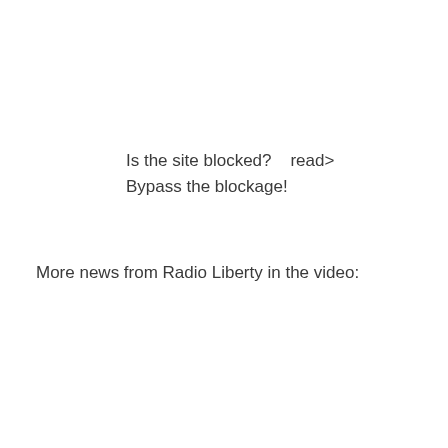Is the site blocked?    read>
Bypass the blockage!
More news from Radio Liberty in the video: